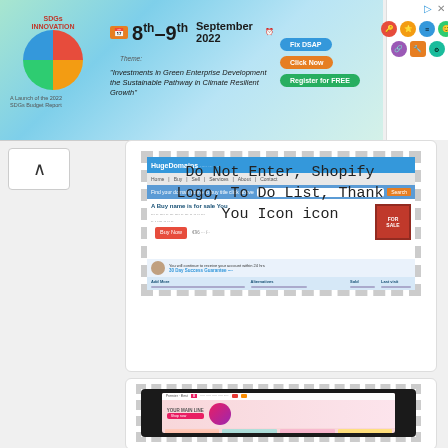[Figure (screenshot): Banner advertisement for SDGs Innovation Fair, 8th-9th September 2022, 10:00am-4:00pm. Theme: Investments in Green Enterprise Development the Sustainable Pathway in Climate Resilient Growth]
[Figure (screenshot): HugeDomains website screenshot showing a domain for sale with a 'For Sale' sign graphic and a table of domain listings]
Do Not Enter, Shopify Logo, To Do List, Thank You Icon icon
[Figure (screenshot): Fashion e-commerce website screenshot showing a woman with sunglasses on a pink/white themed online store]